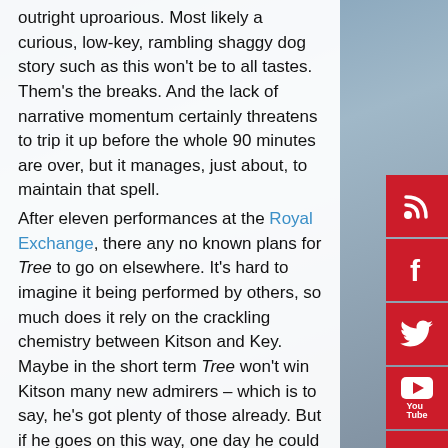outright uproarious. Most likely a curious, low-key, rambling shaggy dog story such as this won't be to all tastes. Them's the breaks. And the lack of narrative momentum certainly threatens to trip it up before the whole 90 minutes are over, but it manages, just about, to maintain that spell.

After eleven performances at the Royal Exchange, there any no known plans for Tree to go on elsewhere. It's hard to imagine it being performed by others, so much does it rely on the crackling chemistry between Kitson and Key. Maybe in the short term Tree won't win Kitson many new admirers – which is to say, he's got plenty of those already. But if he goes on this way, one day he could be as highly-regarded for his theatre work as for his live shows. And for the time being, his sense of adventure is very much to be admired. Not many writer-performers would create a play in
[Figure (other): Social media sidebar with icons for RSS, Facebook, Twitter, YouTube, Instagram, Pinterest, and LinkedIn, all on red square backgrounds]